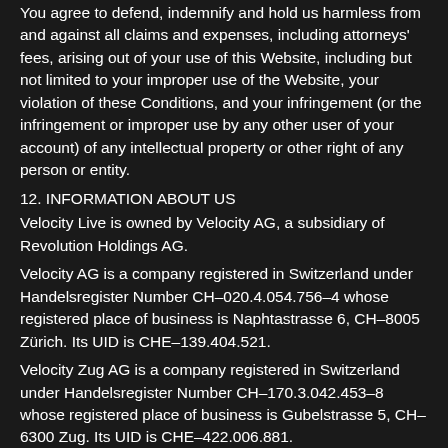You agree to defend, indemnify and hold us harmless from and against all claims and expenses, including attorneys' fees, arising out of your use of this Website, including but not limited to your improper use of the Website, your violation of these Conditions, and your infringement (or the infringement or improper use by any other user of your account) of any intellectual property or other right of any person or entity.
12. INFORMATION ABOUT US
Velocity Live is owned by Velocity AG, a subsidiary of Revolution Holdings AG.
Velocity AG is a company registered in Switzerland under Handelsregister Number CH–020.4.054.756–4 whose registered place of business is Naphtastrasse 6, CH–8005 Zürich. Its UID is CHE–139.404.521.
Velocity Zug AG is a company registered in Switzerland under Handelsregister Number CH–170.3.042.453–8 whose registered place of business is Gubelstrasse 5, CH–6300 Zug. Its UID is CHE–422.006.881.